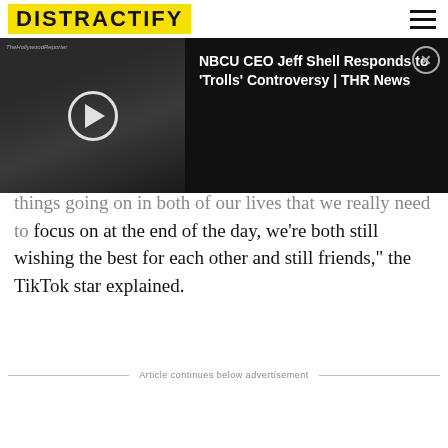DISTRACTIFY
[Figure (screenshot): Video overlay showing a man at an event, with a play button, and the title 'NBCU CEO Jeff Shell Responds to Trolls Controversy | THR News' on a dark background, with a close (X) button.]
things going on in both of our lives that we really need to focus on at the end of the day, we're both still wishing the best for each other and still friends," the TikTok star explained.
Article continues below advertisement